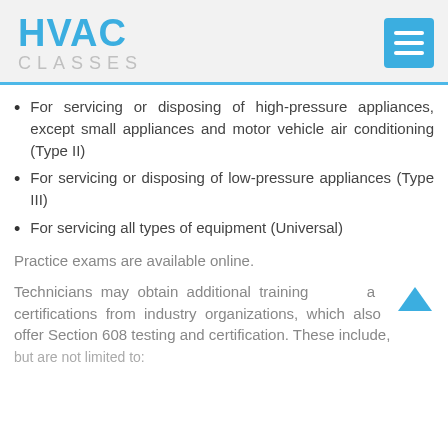HVAC CLASSES
For servicing or disposing of high-pressure appliances, except small appliances and motor vehicle air conditioning (Type II)
For servicing or disposing of low-pressure appliances (Type III)
For servicing all types of equipment (Universal)
Practice exams are available online.
Technicians may obtain additional training and certifications from industry organizations, which also offer Section 608 testing and certification. These include, but are not limited to: